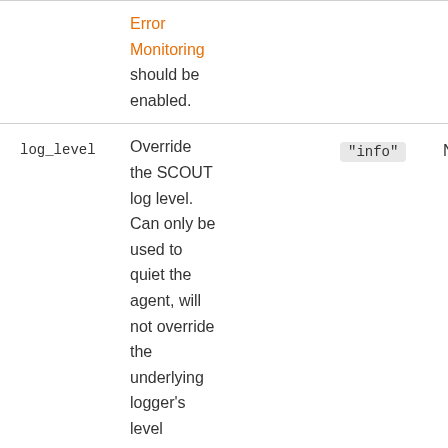|  | Description | Default | Required |
| --- | --- | --- | --- |
|  | Error Monitoring should be enabled. |  |  |
| log_level | Override the SCOUT log level. Can only be used to quiet the agent, will not override the underlying logger's level | "info" | No |